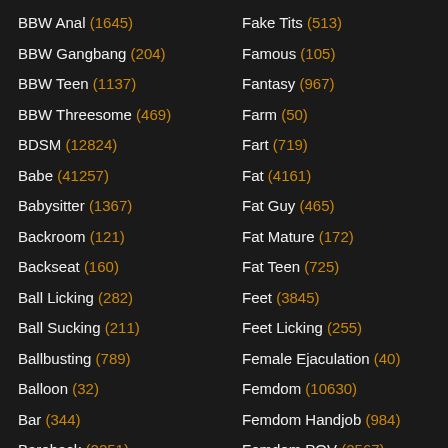BBW Anal (1645)
BBW Gangbang (204)
BBW Teen (1137)
BBW Threesome (469)
BDSM (12824)
Babe (41257)
Babysitter (1367)
Backroom (121)
Backseat (160)
Ball Licking (282)
Ball Sucking (211)
Ballbusting (789)
Balloon (32)
Bar (344)
Bareback (2251)
Bathing (516)
Fake Tits (513)
Famous (105)
Fantasy (967)
Farm (50)
Fart (719)
Fat (4161)
Fat Guy (465)
Fat Mature (172)
Fat Teen (725)
Feet (3845)
Feet Licking (255)
Female Ejaculation (40)
Femdom (10630)
Femdom Handjob (984)
Femdom POV (2567)
Fetish (10962)